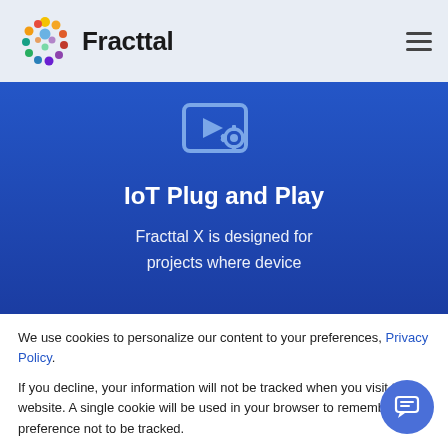[Figure (logo): Fracttal logo with colorful dots arranged in a circular spiral pattern and the text 'Fracttal' in bold dark font]
[Figure (illustration): IoT icon: a video/monitor screen with a play button and a settings/gear icon, rendered in light blue on dark blue background]
IoT Plug and Play
Fracttal X is designed for projects where device
We use cookies to personalize our content to your preferences, Privacy Policy.
If you decline, your information will not be tracked when you visit this website. A single cookie will be used in your browser to remember your preference not to be tracked.
Accept
Decline